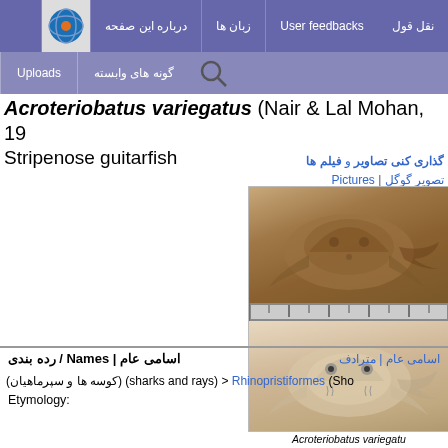Navigation bar with: نقل قول, User feedbacks, زبان ها, درباره این صفحه, Uploads, گونه های وابسته, logo
Acroteriobatus variegatus (Nair & Lal Mohan, 1973) Stripenose guitarfish
گذاری کنی تصاویر و فیلم ها | تصویر گوگل | Pictures
[Figure (photo): Two views of Acroteriobatus variegatus (guitarfish): dorsal view (top, brownish) and ventral view (bottom, pale/cream), with a ruler scale between them. Picture by Vishnuraj, RS]
Acroteriobatus variegatus
Picture by Vishnuraj, RS
اسامی عام | مترادف | Names / رده بندی
(کوسه ها و سپرماهیان) (sharks and rays) > Rhinopristiformes (Sho...
Etymology: